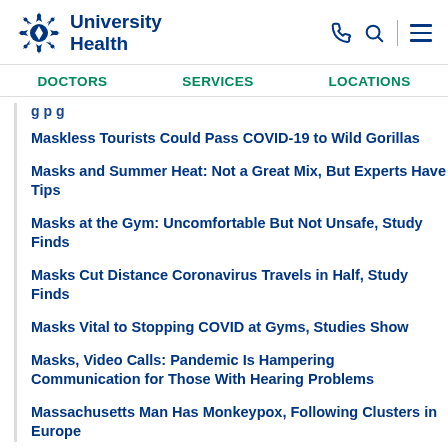University Health
DOCTORS
SERVICES
LOCATIONS
Maskless Tourists Could Pass COVID-19 to Wild Gorillas
Masks and Summer Heat: Not a Great Mix, But Experts Have Tips
Masks at the Gym: Uncomfortable But Not Unsafe, Study Finds
Masks Cut Distance Coronavirus Travels in Half, Study Finds
Masks Vital to Stopping COVID at Gyms, Studies Show
Masks, Video Calls: Pandemic Is Hampering Communication for Those With Hearing Problems
Massachusetts Man Has Monkeypox, Following Clusters in Europe